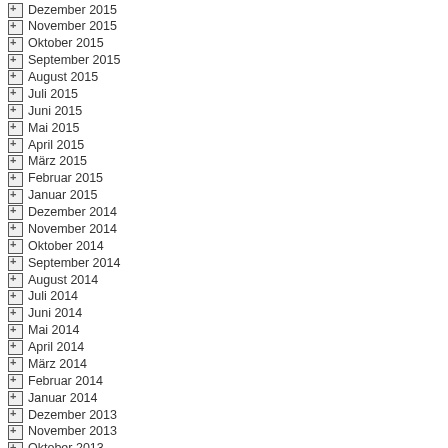Dezember 2015
November 2015
Oktober 2015
September 2015
August 2015
Juli 2015
Juni 2015
Mai 2015
April 2015
März 2015
Februar 2015
Januar 2015
Dezember 2014
November 2014
Oktober 2014
September 2014
August 2014
Juli 2014
Juni 2014
Mai 2014
April 2014
März 2014
Februar 2014
Januar 2014
Dezember 2013
November 2013
Oktober 2013
September 2013
August 2013
Juli 2013
Juni 2013
Mai 2013